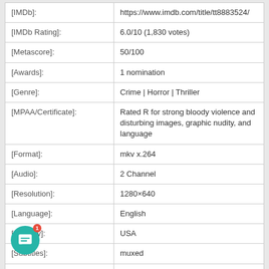| Field | Value |
| --- | --- |
| [IMDb]: | https://www.imdb.com/title/tt8883524/ |
| [IMDb Rating]: | 6.0/10 (1,830 votes) |
| [Metascore]: | 50/100 |
| [Awards]: | 1 nomination |
| [Genre]: | Crime | Horror | Thriller |
| [MPAA/Certificate]: | Rated R for strong bloody violence and disturbing images, graphic nudity, and language |
| [Format]: | mkv x.264 |
| [Audio]: | 2 Channel |
| [Resolution]: | 1280×640 |
| [Language]: | English |
| [Country]: | USA |
| [Subtitles]: | muxed |
| [Release Runtime]: | 01:36:00 |
| [Source]: | 720p.ROVERS |
| [Sample]: | None |